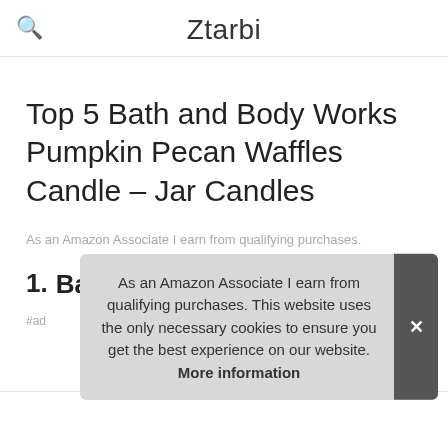Ztarbi
Top 5 Bath and Body Works Pumpkin Pecan Waffles Candle – Jar Candles
As an Amazon Associate I earn from qualifying purchases.
1. Bath & Body Works
As an Amazon Associate I earn from qualifying purchases. This website uses the only necessary cookies to ensure you get the best experience on our website. More information